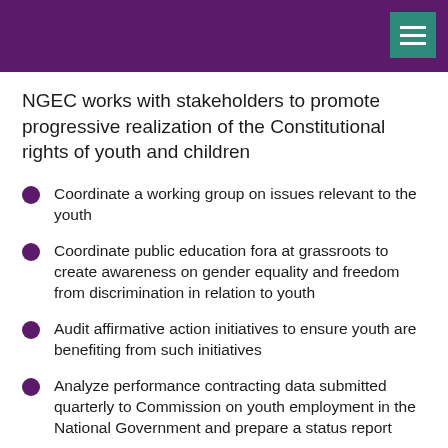NGEC works with stakeholders to promote progressive realization of the Constitutional rights of youth and children
Coordinate a working group on issues relevant to the youth
Coordinate public education fora at grassroots to create awareness on gender equality and freedom from discrimination in relation to youth
Audit affirmative action initiatives to ensure youth are benefiting from such initiatives
Analyze performance contracting data submitted quarterly to Commission on youth employment in the National Government and prepare a status report
Coordinate development of standards for the